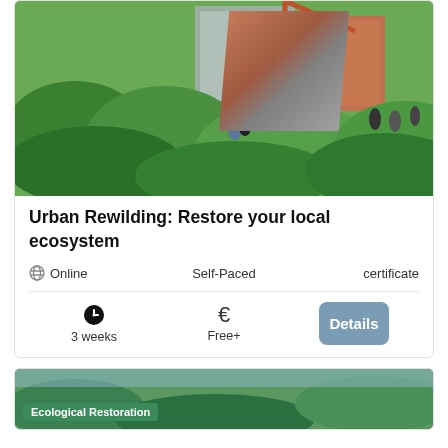[Figure (photo): Aerial/elevated view of an urban green space with lush vegetation and city buildings in the background, people walking through the greenery]
Urban Rewilding: Restore your local ecosystem
Online   Self-Paced   certificate
3 weeks   Free+   Details
[Figure (photo): Bottom card showing another course image with a green 'Ecological Restoration' tag overlay]